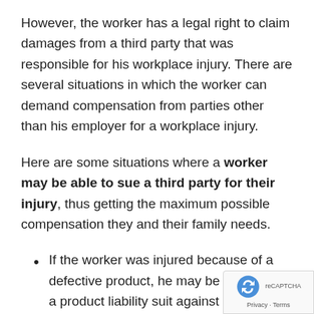However, the worker has a legal right to claim damages from a third party that was responsible for his workplace injury. There are several situations in which the worker can demand compensation from parties other than his employer for a workplace injury.
Here are some situations where a worker may be able to sue a third party for their injury, thus getting the maximum possible compensation they and their family needs.
If the worker was injured because of a defective product, he may be able to file a product liability suit against the manufac...